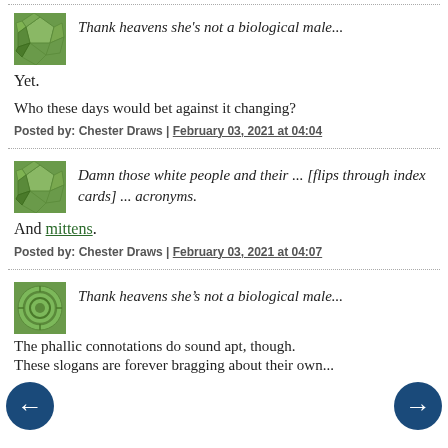[Figure (illustration): Green mosaic/geometric pattern avatar icon]
Thank heavens she's not a biological male...
Yet.
Who these days would bet against it changing?
Posted by: Chester Draws | February 03, 2021 at 04:04
[Figure (illustration): Green mosaic/geometric pattern avatar icon]
Damn those white people and their ... [flips through index cards] ... acronyms.
And mittens.
Posted by: Chester Draws | February 03, 2021 at 04:07
[Figure (illustration): Green spiral/circular pattern avatar icon]
Thank heavens she’s not a biological male...
The phallic connotations do sound apt, though.
These slogans are forever bragging about their own...